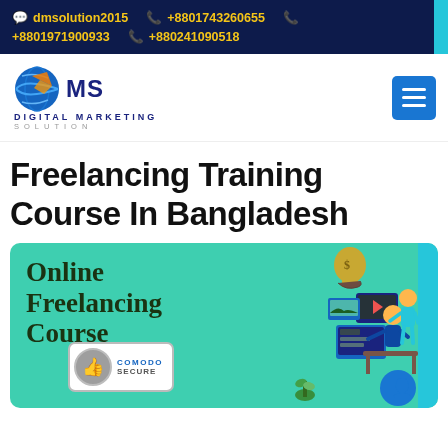dmsolution2015  +8801743260655  +8801971900933  +880241090518
[Figure (logo): DMS Digital Marketing Solution logo with globe icon]
Freelancing Training Course In Bangladesh
[Figure (illustration): Online Freelancing Course promotional banner with teal background, showing text 'Online Freelancing Course', a Comodo Secure badge, and illustration of people working at computer with money bag and floating digital content screens]